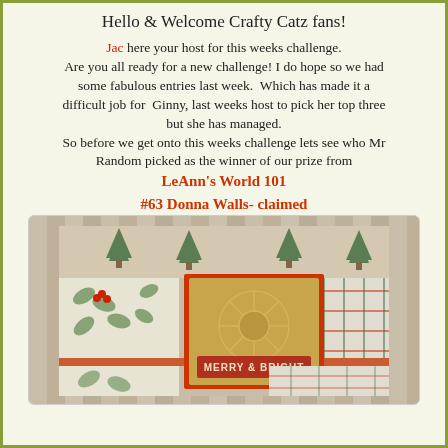Hello & Welcome Crafty Catz fans!
Jac here your host for this weeks challenge.
Are you all ready for a new challenge! I do hope so we had some fabulous entries last week.  Which has made it a difficult job for  Ginny, last weeks host to pick her top three but she has managed.
So before we get onto this weeks challenge lets see who Mr Random picked as the winner of our prize from LeAnn's World 101
#63 Donna Walls- claimed
[Figure (photo): Christmas card with holiday-themed patterned papers including plaid, holly, and pine tree designs, with a gold center panel reading MERRY & BRIGHT, displayed on a wooden background]